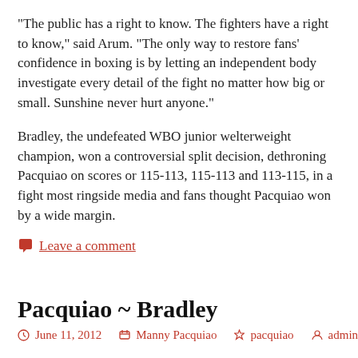“The public has a right to know. The fighters have a right to know,” said Arum. “The only way to restore fans’ confidence in boxing is by letting an independent body investigate every detail of the fight no matter how big or small. Sunshine never hurt anyone.”
Bradley, the undefeated WBO junior welterweight champion, won a controversial split decision, dethroning Pacquiao on scores or 115-113, 115-113 and 113-115, in a fight most ringside media and fans thought Pacquiao won by a wide margin.
Leave a comment
Pacquiao ~ Bradley
June 11, 2012   Manny Pacquiao   pacquiao   admin